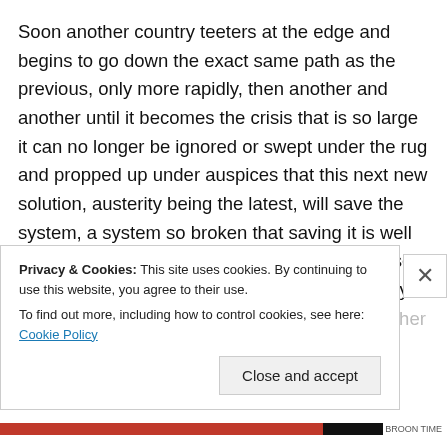Soon another country teeters at the edge and begins to go down the exact same path as the previous, only more rapidly, then another and another until it becomes the crisis that is so large it can no longer be ignored or swept under the rug and propped up under auspices that this next new solution, austerity being the latest, will save the system, a system so broken that saving it is well past any possibility. The eventual default was set in motion at the very outset as was predicted by British Prime Minister the Lady Margaret Thatcher when she wisely refused to allow
Privacy & Cookies: This site uses cookies. By continuing to use this website, you agree to their use.
To find out more, including how to control cookies, see here: Cookie Policy
Close and accept